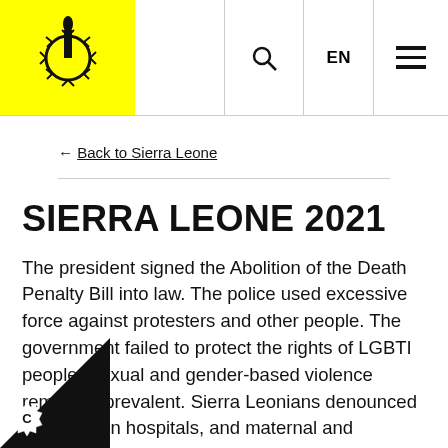[Figure (logo): Amnesty International logo — candle with barbed wire on yellow background]
← Back to Sierra Leone
SIERRA LEONE 2021
The president signed the Abolition of the Death Penalty Bill into law. The police used excessive force against protesters and other people. The government failed to protect the rights of LGBTI people. Sexual and gender-based violence remained prevalent. Sierra Leonians denounced sanitation in hospitals, and maternal and